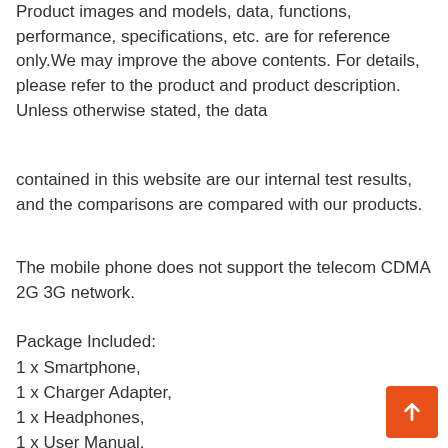Product images and models, data, functions, performance, specifications, etc. are for reference only.We may improve the above contents. For details, please refer to the product and product description. Unless otherwise stated, the data
contained in this website are our internal test results, and the comparisons are compared with our products.
The mobile phone does not support the telecom CDMA 2G 3G network.
Package Included:
1 x Smartphone,
1 x Charger Adapter,
1 x Headphones,
1 x User Manual,